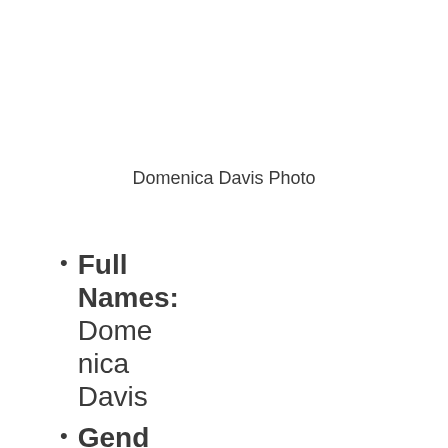Domenica Davis Photo
Full Names: Domenica Davis
Gender: